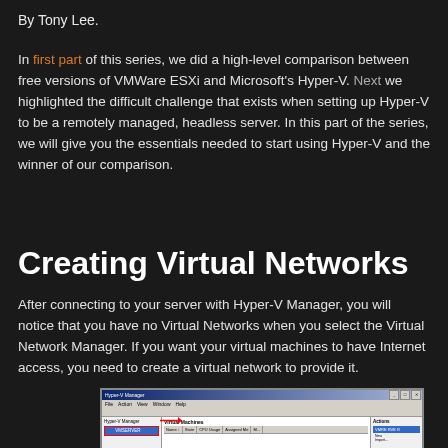By Tony Lee.
In first part of this series, we did a high-level comparison between free versions of VMWare ESXi and Microsoft's Hyper-V. Next we highlighted the difficult challenge that exists when setting up Hyper-V to be a remotely managed, headless server. In this part of the series, we will give you the essentials needed to start using Hyper-V and the winner of our comparison.
Creating Virtual Networks
After connecting to your server with Hyper-V Manager, you will notice that you have no Virtual Networks when you select the Virtual Network Manager. If you want your virtual machines to have Internet access, you need to create a virtual network to provide it.
[Figure (screenshot): Screenshot of Hyper-V Manager application window showing the left panel with VMSERVER selected, the main panel with Virtual Machines list including Name, State, CPU Usage, Assigned Me columns, and an Actions panel on the right with HYPER-V listed.]